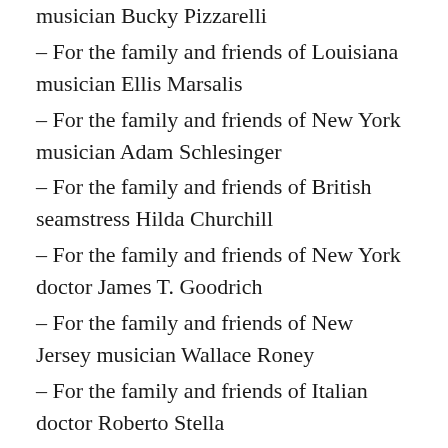musician Bucky Pizzarelli
– For the family and friends of Louisiana musician Ellis Marsalis
– For the family and friends of New York musician Adam Schlesinger
– For the family and friends of British seamstress Hilda Churchill
– For the family and friends of New York doctor James T. Goodrich
– For the family and friends of New Jersey musician Wallace Roney
– For the family and friends of Italian doctor Roberto Stella
– For the family and friends of Tennessee